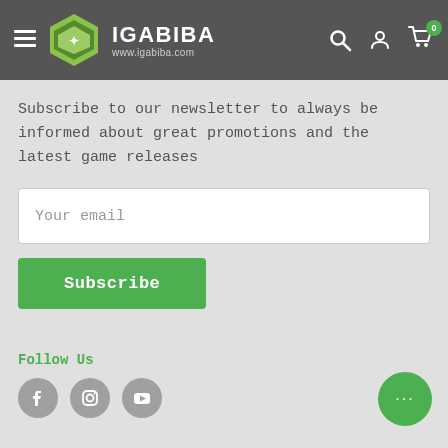IGABIBA www.igabiba.com
Subscribe to our newsletter to always be informed about great promotions and the latest game releases
Your email
Subscribe
Follow Us
[Figure (other): Social media icons: Facebook, Instagram, YouTube circles in grey]
[Figure (other): Green circular chat bubble button with ellipsis]